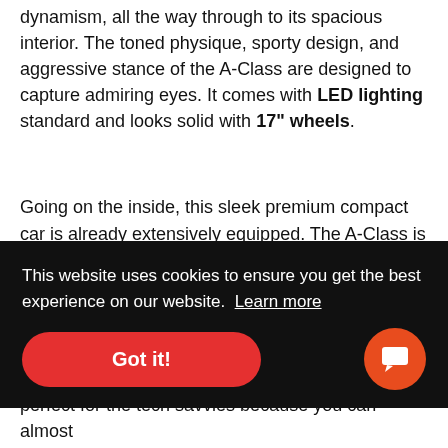dynamism, all the way through to its spacious interior. The toned physique, sporty design, and aggressive stance of the A-Class are designed to capture admiring eyes. It comes with LED lighting standard and looks solid with 17" wheels.
Going on the inside, this sleek premium compact car is already extensively equipped. The A-Class is the first Mercedes-Benz model to feature the Mercedes-[ment] [partially obscured text]
[Figure (screenshot): Cookie consent banner overlay with black background. Text reads: 'This website uses cookies to ensure you get the best experience on our website. Learn more'. Contains a red 'Got it!' button and an orange circular chat/support button with a chat icon.]
perfect for the tech savvies because you can almost